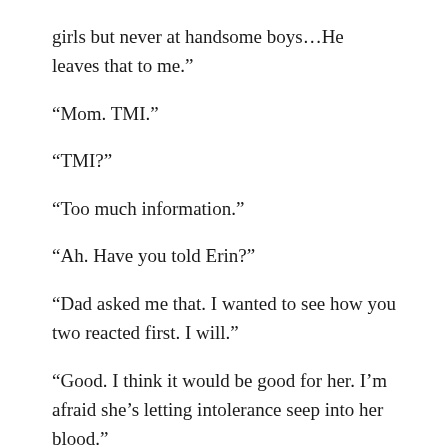girls but never at handsome boys…He leaves that to me.”
“Mom. TMI.”
“TMI?”
“Too much information.”
“Ah. Have you told Erin?”
“Dad asked me that. I wanted to see how you two reacted first. I will.”
“Good. I think it would be good for her. I’m afraid she’s letting intolerance seep into her blood.”
“What about Aunt Beth?”